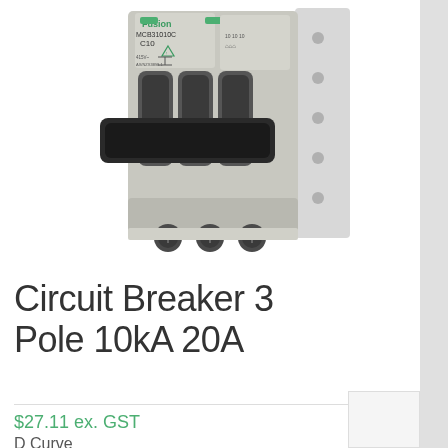[Figure (photo): Fusion MCB31010C C10 three-pole circuit breaker with grey housing, black toggle switch handle, three green LED indicators, three terminal connection points at bottom, mounted on DIN rail. Brand label reads 'Fusion MCB31010C C10' with Australian standard markings AS/NZS3898.1.]
Circuit Breaker 3 Pole 10kA 20A
$27.11 ex. GST
D Curve